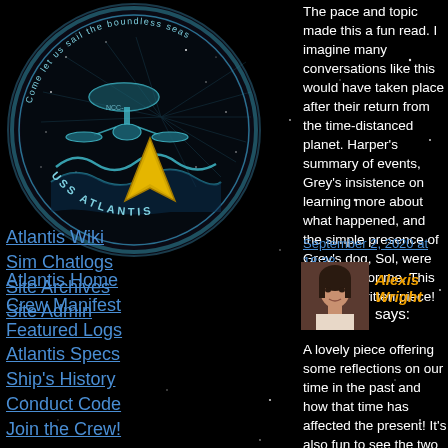[Figure (logo): USS Atlantis circular logo with a starship and wave design, text reads 'Come let us sail the boundless seas' and 'USS ATLANTIS' around the border]
Atlantis Home
Crew Manifest
Featured Logs
Atlantis Specs
Ship's History
Conduct Code
Join the Crew!
[Figure (illustration): Starfleet delta/arrowhead badge insignia in gold]
Atlantis Wiki
Sim Chatlogs
Site Archives
Site Admin
The pace and topic made this a fun read. I imagine many conversations like this would have taken place after their return from the time-distanced planet. Harper's summary of events, Grey's insistence on learning more about what happened, and the simple presence of Grey's dog, Sol, were highlights for me. This is a well-written piece!
September 2, 2020 at 18:38
[Figure (photo): Avatar photo of Alexis Wright, a person with dark hair]
Alexis Wright says:
A lovely piece offering some reflections on our time in the past and how that time has affected the present! It's also fun to see the two of them developing companionship over some shared interests. The inclusion of the dog was pretty cute. Nicely put together, well done!